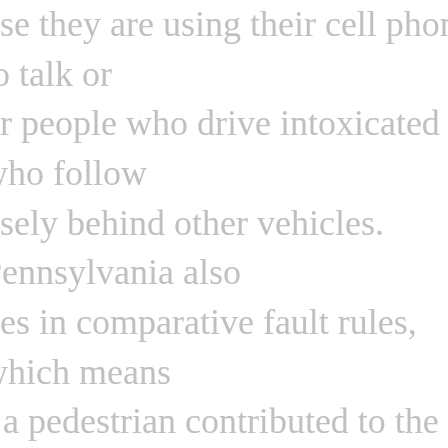use they are using their cell phone to talk or or people who drive intoxicated or who follow osely behind other vehicles. Pennsylvania also ges in comparative fault rules, which means f a pedestrian contributed to the accident in vay, they will only be able to recover a partial unt of compensation for their losses. edestrian decides to file a Pennsylvania ent claim, the driver will typically be held liable oth economic and non-economic damages. aples of economic damages include medical nses, lost wages from missed time at work, py costs, surgeries, and examples of non- omic damages include pain and suffering